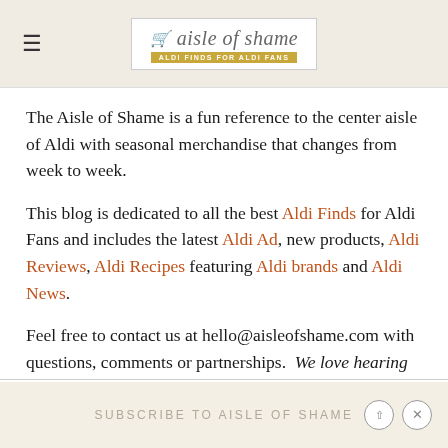aisle of shame — ALDI FINDS FOR ALDI FANS
The Aisle of Shame is a fun reference to the center aisle of Aldi with seasonal merchandise that changes from week to week.
This blog is dedicated to all the best Aldi Finds for Aldi Fans and includes the latest Aldi Ad, new products, Aldi Reviews, Aldi Recipes featuring Aldi brands and Aldi News.
Feel free to contact us at hello@aisleofshame.com with questions, comments or partnerships. We love hearing from other Aldi fans!
SUBSCRIBE TO AISLE OF SHAME